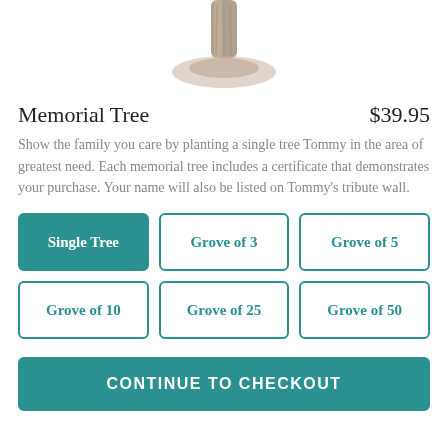[Figure (illustration): A pencil sketch of a tree trunk and roots, partially cropped, centered at the top of the page.]
Memorial Tree
$39.95
Show the family you care by planting a single tree Tommy in the area of greatest need. Each memorial tree includes a certificate that demonstrates your purchase. Your name will also be listed on Tommy's tribute wall.
Single Tree
Grove of 3
Grove of 5
Grove of 10
Grove of 25
Grove of 50
CONTINUE TO CHECKOUT